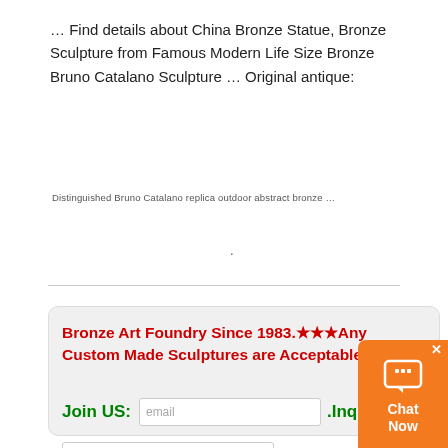… Find details about China Bronze Statue, Bronze Sculpture from Famous Modern Life Size Bronze Bruno Catalano Sculpture … Original antique:
Distinguished Bruno Catalano replica outdoor abstract bronze …
Bronze Art Foundry Since 1983.★★★Any Custom Made Sculptures are Acceptable !★★★
Join US: [email input] .Inquiry:
[message input] .40% Off Your
Order [Send button]